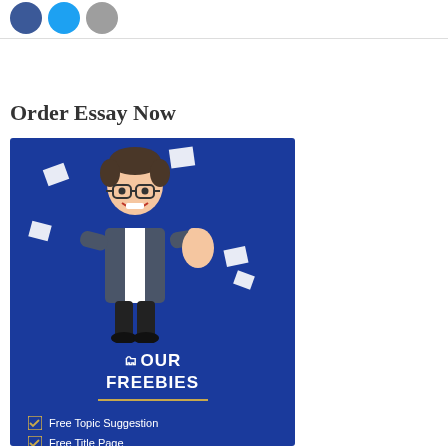[Figure (illustration): Three social media icon circles: Facebook (blue), Twitter (light blue), Google+ (gray)]
Order Essay Now
[Figure (infographic): Blue promotional banner with cartoon businessman giving thumbs up, paper scraps flying, text 'OUR FREEBIES' with checklist items: Free Topic Suggestion, Free Title Page, Free Reference Page]
Free Topic Suggestion
Free Title Page
Free Reference Page